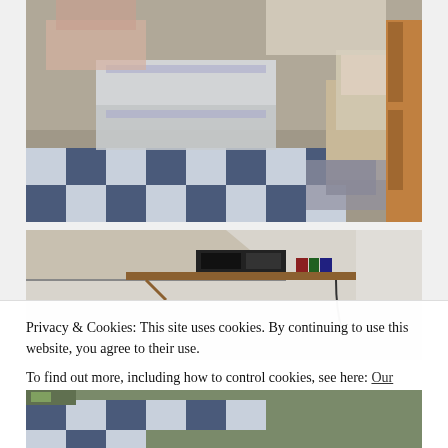[Figure (photo): Cluttered room with stacked clear plastic storage bins, a blue and white checked blanket or tablecloth on the floor, bags and items piled on a sofa, and a wooden wardrobe visible on the right.]
[Figure (photo): Room with a wall-mounted wooden shelf holding a stereo system and books, angled ceiling suggesting an attic or loft space.]
Privacy & Cookies: This site uses cookies. By continuing to use this website, you agree to their use.
To find out more, including how to control cookies, see here: Our Cookie Policy
[Figure (photo): Partial view of a room with blue and white checked textile visible at the bottom of the page.]